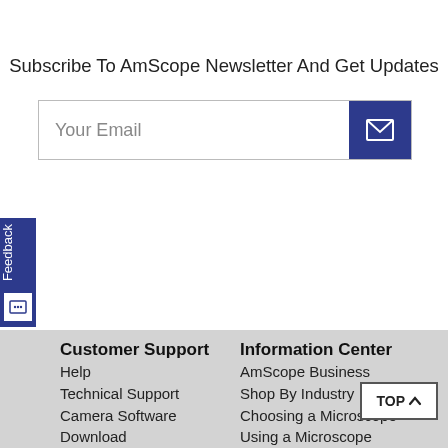Subscribe To AmScope Newsletter And Get Updates
Your Email
Customer Support
Help
Technical Support
Camera Software
Download
Manual Download
Information Center
AmScope Business
Shop By Industry
Choosing a Microscope
Using a Microscope
Microscope Parts and Functions
Educational Resources